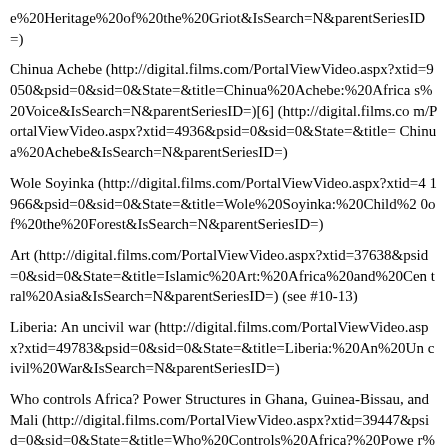e%20Heritage%20of%20the%20Griot&IsSearch=N&parentSeriesID=)
Chinua Achebe (http://digital.films.com/PortalViewVideo.aspx?xtid=9050&psid=0&sid=0&State=&title=Chinua%20Achebe:%20Africa s%20Voice&IsSearch=N&parentSeriesID=)[6] (http://digital.films.com/PortalViewVideo.aspx?xtid=4936&psid=0&sid=0&State=&title=Chinua%20Achebe&IsSearch=N&parentSeriesID=)
Wole Soyinka (http://digital.films.com/PortalViewVideo.aspx?xtid=41966&psid=0&sid=0&State=&title=Wole%20Soyinka:%20Child%20of%20the%20Forest&IsSearch=N&parentSeriesID=)
Art (http://digital.films.com/PortalViewVideo.aspx?xtid=37638&psid=0&sid=0&State=&title=Islamic%20Art:%20Africa%20and%20Central%20Asia&IsSearch=N&parentSeriesID=) (see #10-13)
Liberia: An uncivil war (http://digital.films.com/PortalViewVideo.aspx?xtid=49783&psid=0&sid=0&State=&title=Liberia:%20An%20Uncivil%20War&IsSearch=N&parentSeriesID=)
Who controls Africa? Power Structures in Ghana, Guinea-Bissau, and Mali (http://digital.films.com/PortalViewVideo.aspx?xtid=39447&psid=0&sid=0&State=&title=Who%20Controls%20Africa?%20Power%20Structures%20in%20Ghana,%20Guinea-Bissau%20and%20M